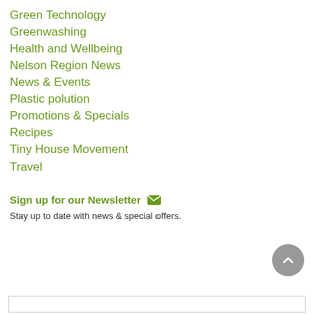Green Technology
Greenwashing
Health and Wellbeing
Nelson Region News
News & Events
Plastic polution
Promotions & Specials
Recipes
Tiny House Movement
Travel
Sign up for our Newsletter
Stay up to date with news & special offers.